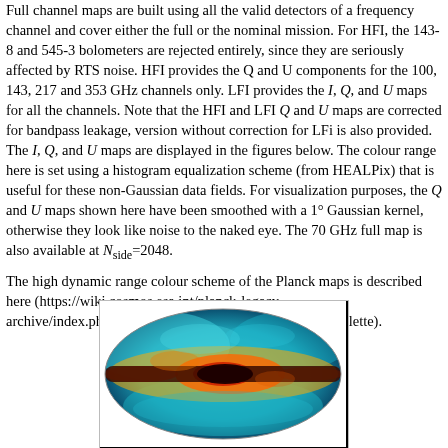Full channel maps are built using all the valid detectors of a frequency channel and cover either the full or the nominal mission. For HFI, the 143-8 and 545-3 bolometers are rejected entirely, since they are seriously affected by RTS noise. HFI provides the Q and U components for the 100, 143, 217 and 353 GHz channels only. LFI provides the I, Q, and U maps for all the channels. Note that the HFI and LFI Q and U maps are corrected for bandpass leakage, version without correction for LFi is also provided. The I, Q, and U maps are displayed in the figures below. The colour range here is set using a histogram equalization scheme (from HEALPix) that is useful for these non-Gaussian data fields. For visualization purposes, the Q and U maps shown here have been smoothed with a 1° Gaussian kernel, otherwise they look like noise to the naked eye. The 70 GHz full map is also available at N_side=2048.
The high dynamic range colour scheme of the Planck maps is described here (https://wiki.cosmos.esa.int/planck-legacy-archive/index.php/Planck_high_dynamic_range_colour_palette).
[Figure (photo): Oval/elliptical full-sky Planck map showing the Milky Way galaxy in a high dynamic range colour scheme. The galactic plane runs horizontally across the center with dark red/brown colors indicating high emission, surrounded by orange and yellow regions, and blue background indicating low emission CMB. The image is displayed in a bordered rectangular frame.]